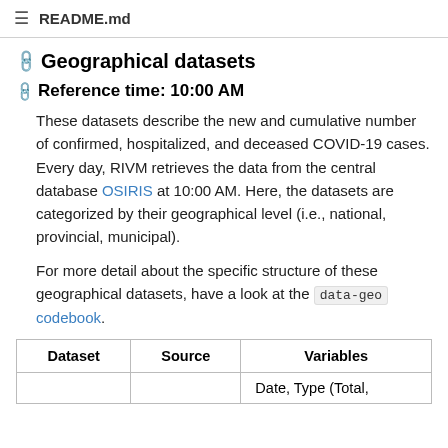README.md
Geographical datasets
Reference time: 10:00 AM
These datasets describe the new and cumulative number of confirmed, hospitalized, and deceased COVID-19 cases. Every day, RIVM retrieves the data from the central database OSIRIS at 10:00 AM. Here, the datasets are categorized by their geographical level (i.e., national, provincial, municipal).
For more detail about the specific structure of these geographical datasets, have a look at the data-geo codebook.
| Dataset | Source | Variables |
| --- | --- | --- |
|  |  | Date, Type (Total, |